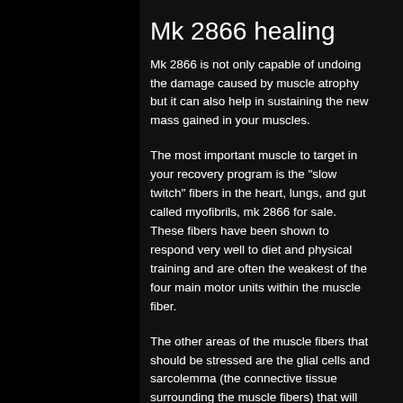Mk 2866 healing
Mk 2866 is not only capable of undoing the damage caused by muscle atrophy but it can also help in sustaining the new mass gained in your muscles.
The most important muscle to target in your recovery program is the "slow twitch" fibers in the heart, lungs, and gut called myofibrils, mk 2866 for sale. These fibers have been shown to respond very well to diet and physical training and are often the weakest of the four main motor units within the muscle fiber.
The other areas of the muscle fibers that should be stressed are the glial cells and sarcolemma (the connective tissue surrounding the muscle fibers) that will also benefit from a program such as this, mk